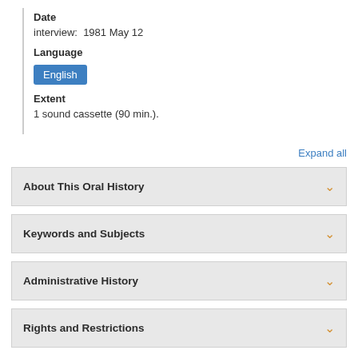Date
interview:  1981 May 12
Language
English
Extent
1 sound cassette (90 min.).
Expand all
About This Oral History
Keywords and Subjects
Administrative History
Rights and Restrictions